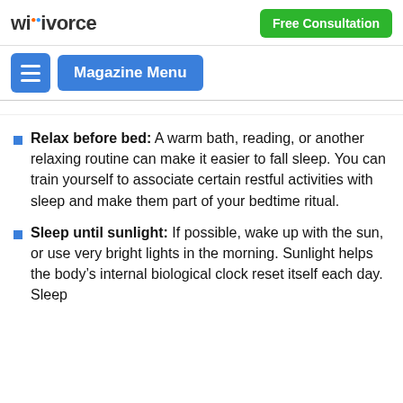wikivorce | Free Consultation
Magazine Menu
Relax before bed: A warm bath, reading, or another relaxing routine can make it easier to fall sleep. You can train yourself to associate certain restful activities with sleep and make them part of your bedtime ritual.
Sleep until sunlight: If possible, wake up with the sun, or use very bright lights in the morning. Sunlight helps the body's internal biological clock reset itself each day. Sleep